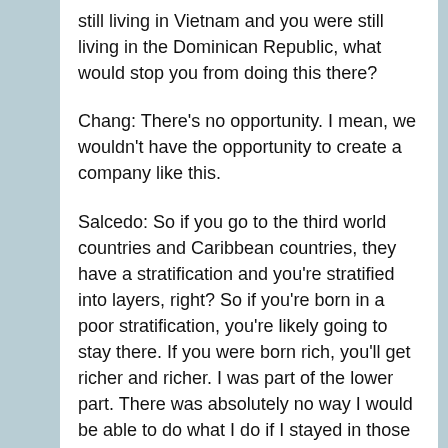still living in Vietnam and you were still living in the Dominican Republic, what would stop you from doing this there?
Chang: There's no opportunity. I mean, we wouldn't have the opportunity to create a company like this.
Salcedo: So if you go to the third world countries and Caribbean countries, they have a stratification and you're stratified into layers, right? So if you're born in a poor stratification, you're likely going to stay there. If you were born rich, you'll get richer and richer. I was part of the lower part. There was absolutely no way I would be able to do what I do if I stayed in those places. Only with the opportunity of